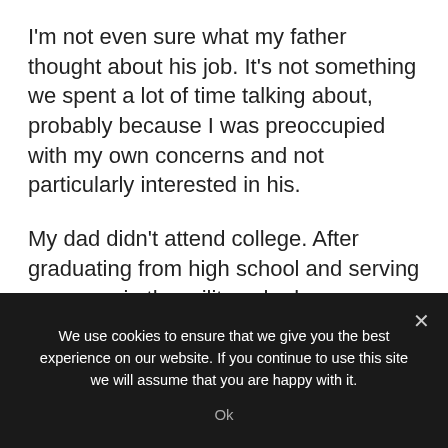I'm not even sure what my father thought about his job. It's not something we spent a lot of time talking about, probably because I was preoccupied with my own concerns and not particularly interested in his.
My dad didn't attend college. After graduating from high school and serving overseas in the military, he began working for the state the same year I was born.
My dad told me once that a government job was good because you didn't have to worry
We use cookies to ensure that we give you the best experience on our website. If you continue to use this site we will assume that you are happy with it.
Ok